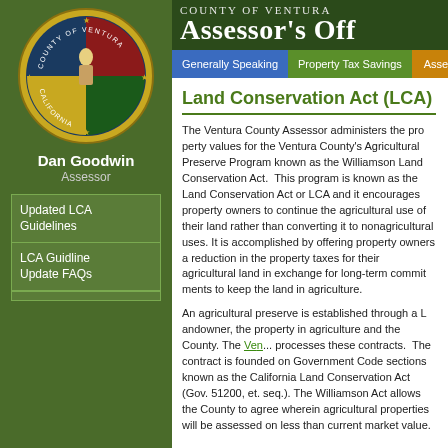[Figure (logo): County of Ventura circular seal/logo on dark green sidebar background]
Dan Goodwin
Assessor
Updated LCA Guidelines
LCA Guidline Update FAQs
County of Ventura Assessor's Office
Generally Speaking | Property Tax Savings | Assessme...
Land Conservation Act (LCA)
The Ventura County Assessor administers the property values for the Ventura County's Agricultural Preserve Program known as the Williamson Land Conservation Act. This program is known as the Land Conservation Act or LCA and it encourages property owners to continue the agricultural use of their land rather than converting it to nonagricultural uses. It is accomplished by offering property owners a reduction in the property taxes for their agricultural land in exchange for long-term commitments to keep the land in agriculture.
An agricultural preserve is established through a Landowner, the property in agriculture and the County. The Ven... processes these contracts. The contract is founded on Government Code sections known as the California Land Cons... 51200, et. seq.). The Williamson Act allows the Co... wherein agricultural properties will be assessed on... current market value.